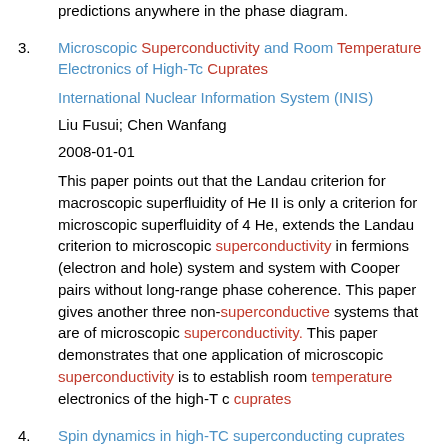predictions anywhere in the phase diagram.
3. Microscopic Superconductivity and Room Temperature Electronics of High-Tc Cuprates
International Nuclear Information System (INIS)
Liu Fusui; Chen Wanfang
2008-01-01
This paper points out that the Landau criterion for macroscopic superfluidity of He II is only a criterion for microscopic superfluidity of 4 He, extends the Landau criterion to microscopic superconductivity in fermions (electron and hole) system and system with Cooper pairs without long-range phase coherence. This paper gives another three non-superconductive systems that are of microscopic superconductivity. This paper demonstrates that one application of microscopic superconductivity is to establish room temperature electronics of the high-T c cuprates
4. Spin dynamics in high-TC superconducting cuprates
International Nuclear Information System (INIS)